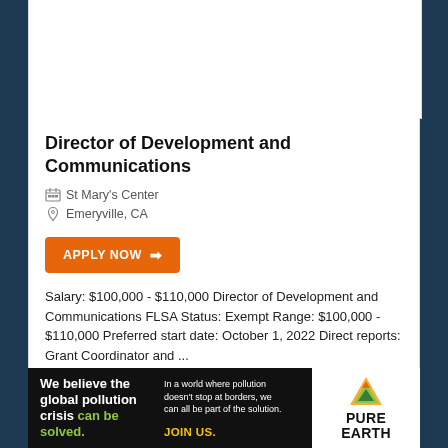Director of Development and Communications
St Mary's Center
Emeryville, CA
APPLY NOW
Salary: $100,000 - $110,000 Director of Development and Communications FLSA Status: Exempt Range: $100,000 - $110,000 Preferred start date: October 1, 2022 Direct reports: Grant Coordinator and ...
Posted: 5 Days Ago
[Figure (infographic): Pure Earth advertisement banner: 'We believe the global pollution crisis can be solved.' with Pure Earth logo on right]